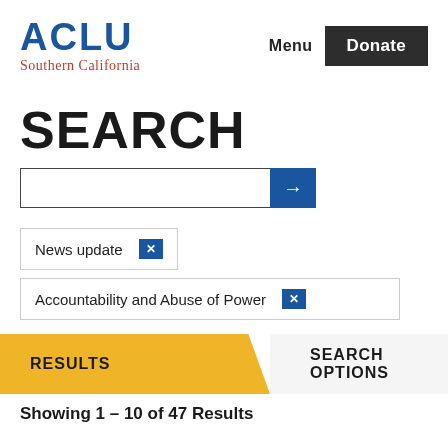ACLU Southern California | Menu | Donate
SEARCH
News update ×
Accountability and Abuse of Power ×
RESULTS   SEARCH OPTIONS
Showing 1 – 10 of 47 Results